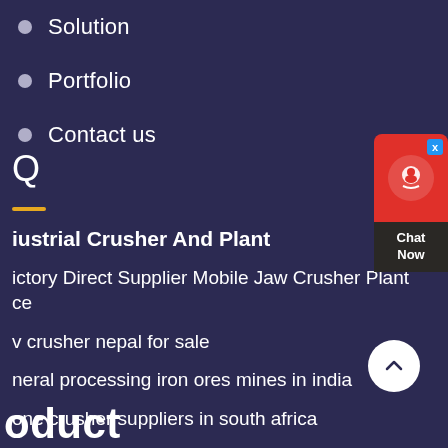Solution
Portfolio
Contact us
Q
Industrial Crusher And Plant
Factory Direct Supplier Mobile Jaw Crusher Plant Price
jaw crusher nepal for sale
mineral processing iron ores mines in india
stone crusher suppliers in south africa
calcium carbonate grinding production line supplier
Chat Now
oduct